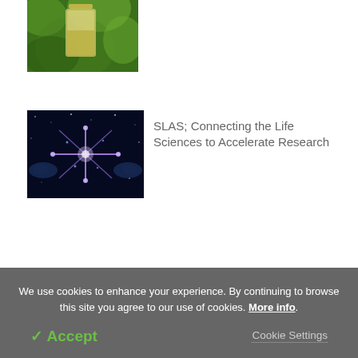[Figure (photo): Partial view of a glass bottle with green blurred background (cropped at top)]
[Figure (photo): SLAS science image: glowing blue networked hands/atoms on dark background]
SLAS; Connecting the Life Sciences to Accelerate Research
Exercise program improves physical functioning among older adults with chronic kidney disease
We use cookies to enhance your experience. By continuing to browse this site you agree to our use of cookies. More info.
✓ Accept
Cookie Settings